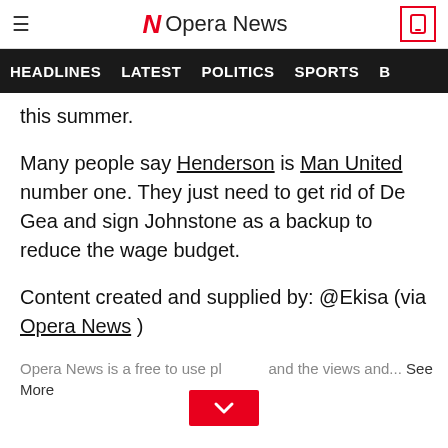Opera News — HEADLINES | LATEST | POLITICS | SPORTS
this summer.
Many people say Henderson is Man United number one. They just need to get rid of De Gea and sign Johnstone as a backup to reduce the wage budget.
Content created and supplied by: @Ekisa (via Opera News )
Opera News is a free to use platform and the views and... See More